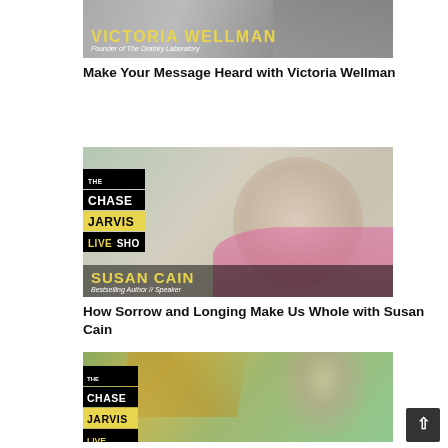[Figure (photo): Thumbnail image for Victoria Wellman podcast episode on The Chase Jarvis Live Show. Shows Victoria Wellman with yellow text overlay reading 'VICTORIA WELLMAN' and subtitle 'Founder of The Oratory Laboratory'.]
Make Your Message Heard with Victoria Wellman
[Figure (photo): Thumbnail image for Susan Cain podcast episode on The Chase Jarvis Live Show. Shows Susan Cain with yellow name overlay and subtitle 'Bestselling Author // Speaker'.]
How Sorrow and Longing Make Us Whole with Susan Cain
[Figure (photo): Thumbnail image for a third podcast episode on The Chase Jarvis Live Show. Shows a woman with dark hair in colorful setting with palm fronds visible.]